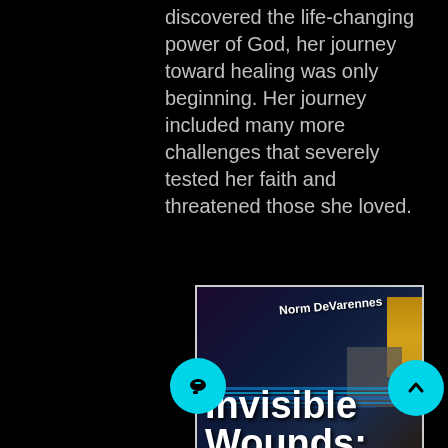discovered the life-changing power of God, her journey toward healing was only beginning. Her journey included many more challenges that severely tested her faith and threatened those she loved.
[Figure (illustration): Book cover for 'Invisible Wounds:' by Norm DeVarennes. Dark blue/purple background with blue neon stripes, gold bar on right, grey block shapes, white bold title text 'Invisible Wounds:' and author name 'Norm DeVarennes' in white.]